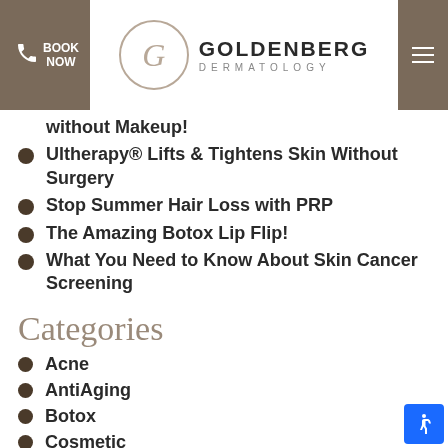Goldenberg Dermatology — BOOK NOW
without Makeup!
Ultherapy® Lifts & Tightens Skin Without Surgery
Stop Summer Hair Loss with PRP
The Amazing Botox Lip Flip!
What You Need to Know About Skin Cancer Screening
Categories
Acne
AntiAging
Botox
Cosmetic